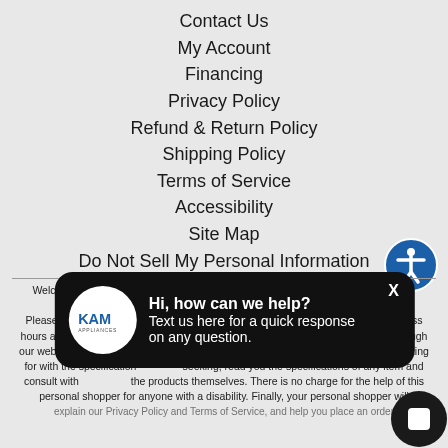Contact Us
My Account
Financing
Privacy Policy
Refund & Return Policy
Shipping Policy
Terms of Service
Accessibility
Site Map
Do Not Sell My Personal Information
[Figure (other): Accessibility icon - blue circle with white person figure]
Welcome to our website! As we have the ability to list over one million items on our website (our selection changes all of the time), it is not feasible for a company our size to record and playback the descriptions on every item on our website. Please call our disability services phone line at 800-649-2221 during regular business hours and one of our kind and friendly personal shoppers will help you navigate through our website, help conduct advanced searches, help you choose the item you are looking for with the specifications you are seeking, read you the specifications of any item and consult with you about the products themselves. There is no charge for the help of this personal shopper for anyone with a disability. Finally, your personal shopper will explain our Privacy Policy and Terms of Service, and help you place an order
[Figure (other): KAM Appliances chat popup with logo and text: Hi, how can we help? Text us here for a quick response on any question.]